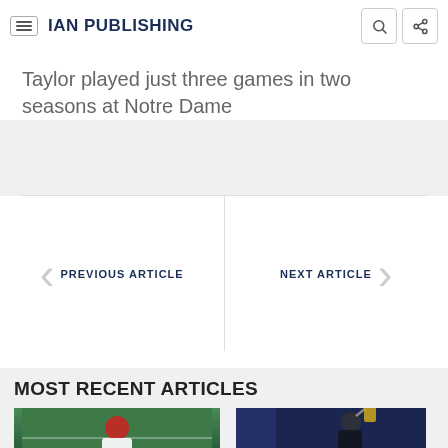IAN PUBLISHING
Taylor played just three games in two seasons at Notre Dame
PREVIOUS ARTICLE
NEXT ARTICLE
MOST RECENT ARTICLES
[Figure (photo): Football player in red uniform #34 in a stance on a turf field]
[Figure (photo): Basketball player in dark uniform raising arm, dark blue background]